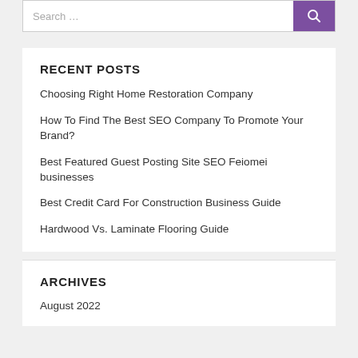RECENT POSTS
Choosing Right Home Restoration Company
How To Find The Best SEO Company To Promote Your Brand?
Best Featured Guest Posting Site SEO Feiomei businesses
Best Credit Card For Construction Business Guide
Hardwood Vs. Laminate Flooring Guide
ARCHIVES
August 2022